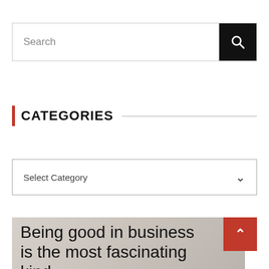[Figure (screenshot): Search bar with text input 'Search' and a black search button with magnifying glass icon]
CATEGORIES
[Figure (screenshot): Dropdown select box with 'Select Category' placeholder and chevron arrow]
Being good in business is the most fascinating kind